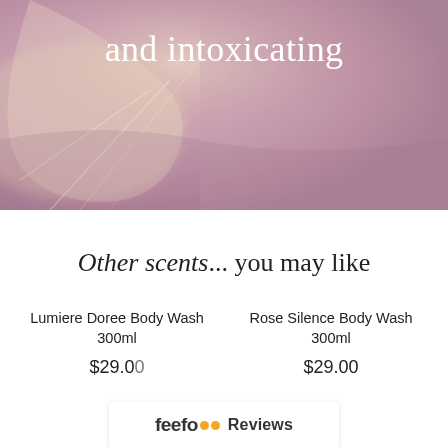[Figure (photo): Close-up photo of soft pink/mauve flower petals with delicate petal textures, used as hero background image]
and intoxicating
Other scents... you may like
Lumiere Doree Body Wash 300ml
$29.00
Rose Silence Body Wash 300ml
$29.00
[Figure (logo): Feefo Reviews badge/logo overlay at bottom center]